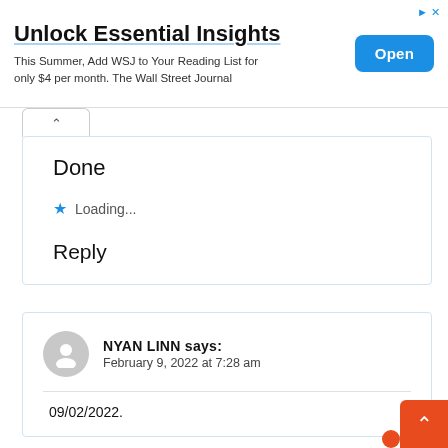[Figure (screenshot): Advertisement banner: 'Unlock Essential Insights' with WSJ subscription offer and Open button]
Done
★ Loading...
Reply
NYAN LINN says:
February 9, 2022 at 7:28 am
09/02/2022.